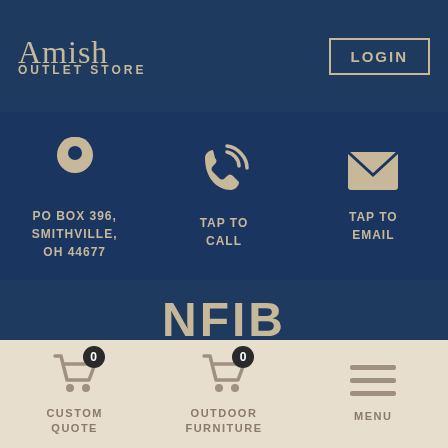Amish Outlet Store — LOGIN
PO BOX 396, SMITHVILLE, OH 44677
TAP TO CALL
TAP TO EMAIL
[Figure (logo): NFIB logo - The Voice of Small Business]
How to Shop Our Website +
CUSTOM QUOTE 0
OUTDOOR FURNITURE 0
MENU